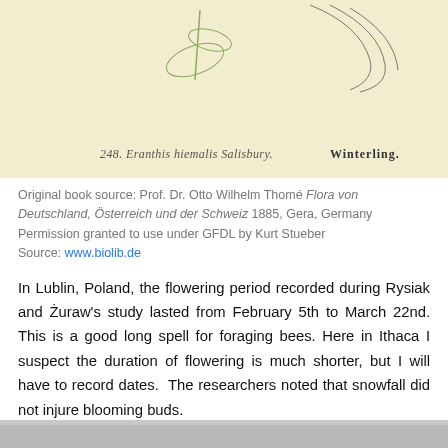[Figure (illustration): Botanical illustration of Eranthis hiemalis (Winter Aconite) showing plant with leaves and flowers, from Flora von Deutschland. Caption reads '248. Eranthis hiemalis Salisbury.' and 'Winterling.']
Original book source: Prof. Dr. Otto Wilhelm Thomé Flora von Deutschland, Österreich und der Schweiz 1885, Gera, Germany
Permission granted to use under GFDL by Kurt Stueber
Source: www.biolib.de
In Lublin, Poland, the flowering period recorded during Rysiak and Żuraw's study lasted from February 5th to March 22nd. This is a good long spell for foraging bees. Here in Ithaca I suspect the duration of flowering is much shorter, but I will have to record dates.  The researchers noted that snowfall did not injure blooming buds.
[Figure (photo): Partial photograph visible at bottom of page, appearing to show a plant or outdoor scene.]